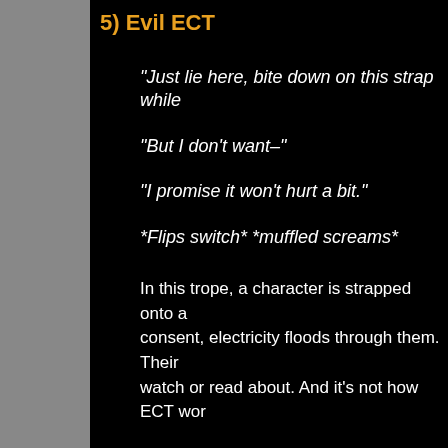5) Evil ECT
“Just lie here, bite down on this strap while
“But I don’t want–”
“I promise it won’t hurt a bit.”
*Flips switch* *muffled screams*
In this trope, a character is strapped onto a consent, electricity floods through them. Their watch or read about. And it’s not how ECT wor
Electroconvulsive therapy, or ECT, is a proc ranging from treatment-resistant depression to symptoms in as little as six sessions, or about